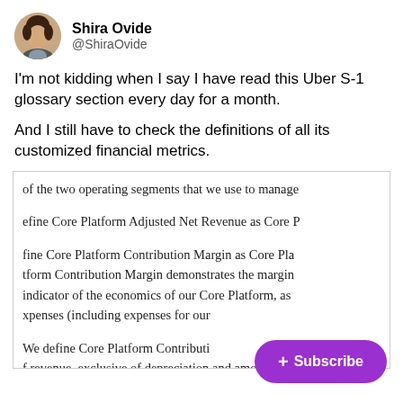[Figure (screenshot): Twitter/social media post by Shira Ovide (@ShiraOvide) with a profile avatar photo and username header, followed by tweet text and an embedded screenshot of Uber S-1 financial document text.]
I'm not kidding when I say I have read this Uber S-1 glossary section every day for a month.

And I still have to check the definitions of all its customized financial metrics.
of the two operating segments that we use to manage

efine Core Platform Adjusted Net Revenue as Core P

fine Core Platform Contribution Margin as Core Pla tform Contribution Margin demonstrates the margin indicator of the economics of our Core Platform, as xpenses (including expenses for our

We define Core Platform Contributi f revenue, exclusive of depreciation and amortization